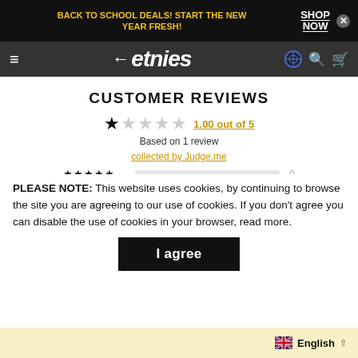BACK TO SCHOOL DEALS! START THE NEW YEAR FRESH! SHOP NOW
[Figure (logo): etnies brand logo with arrow icon on dark nav bar]
CUSTOMER REVIEWS
1.00 out of 5
Based on 1 review
collected by Judge.me
[Figure (infographic): Rating breakdown bars: 5-star: 0, 4-star: 0, 3-star: (partially hidden), 2-star: (partially hidden), 1-star: (partially hidden)]
PLEASE NOTE: This website uses cookies, by continuing to browse the site you are agreeing to our use of cookies. If you don't agree you can disable the use of cookies in your browser, read more.
I agree
English